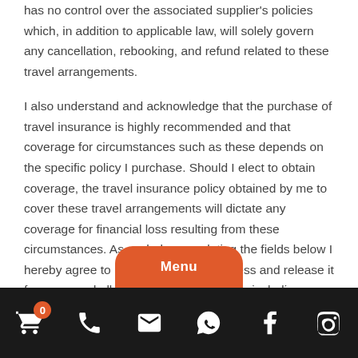has no control over the associated supplier's policies which, in addition to applicable law, will solely govern any cancellation, rebooking, and refund related to these travel arrangements.
I also understand and acknowledge that the purchase of travel insurance is highly recommended and that coverage for circumstances such as these depends on the specific policy I purchase. Should I elect to obtain coverage, the travel insurance policy obtained by me to cover these travel arrangements will dictate any coverage for financial loss resulting from these circumstances. As such, by completing the fields below I hereby agree to hold the Agency harmless and release it from any and all liability for any damages including, without limitation, losses, damage to person or property, ill… …vs, negligence, or